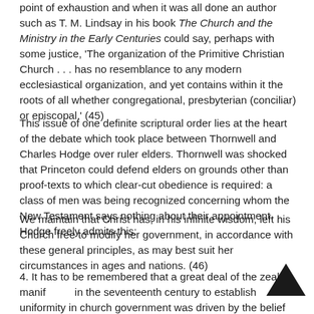point of exhaustion and when it was all done an author such as T. M. Lindsay in his book The Church and the Ministry in the Early Centuries could say, perhaps with some justice, 'The organization of the Primitive Christian Church . . . has no resemblance to any modern ecclesiastical organization, and yet contains within it the roots of all whether congregational, presbyterian (conciliar) or episcopal.' (45)
This issue of one definite scriptural order lies at the heart of the debate which took place between Thornwell and Charles Hodge over ruler elders. Thornwell was shocked that Princeton could defend elders on grounds other than proof-texts to which clear-cut obedience is required: a class of men was being recognized concerning whom the New Testament says nothing about their appointment. Hodge freely admits this:
We maintain that Christ has, in his infinite wisdom, left his Church free to modify her government, in accordance with these general principles, as may best suit her circumstances in ages and nations. (46)
4. It has to be remembered that a great deal of the zeal manifested in the seventeenth century to establish uniformity in church government was driven by the belief that without it churches would be in a state of schism. But if Christ has imposed no one, unvarying